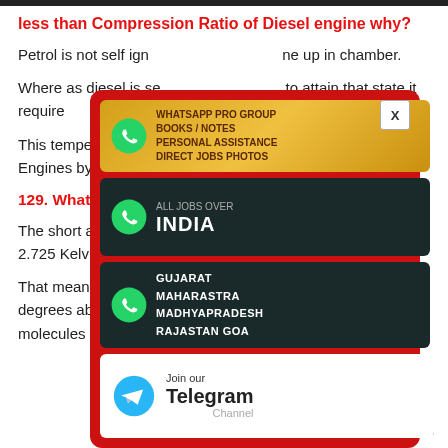less than Compression Ratio of Diesel engine why?
Petrol is not self ign... ne up in chamber.
Where as diesel is se... to attain that state it require...
This temperature &... t's required in Petrol Engines by...
129. What is the te...
The short answer is... ace is approximately 2.725 Kelvin.
That means the universe is generally just shy of three degrees above absolute zero – the temperature at which molecules themselves stop moving.
[Figure (screenshot): Popup advertisement overlay with WhatsApp group promotion cards and a Telegram channel join card, on a red background with an X close button.]